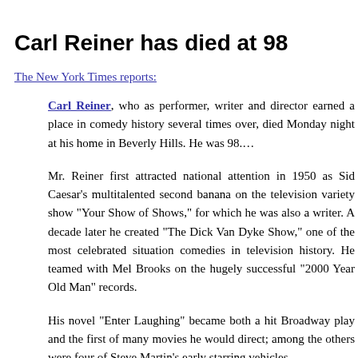Carl Reiner has died at 98
The New York Times reports:
Carl Reiner, who as performer, writer and director earned a place in comedy history several times over, died Monday night at his home in Beverly Hills. He was 98....
Mr. Reiner first attracted national attention in 1950 as Sid Caesar's multitalented second banana on the television variety show "Your Show of Shows," for which he was also a writer. A decade later he created "The Dick Van Dyke Show," one of the most celebrated situation comedies in television history. He teamed with Mel Brooks on the hugely successful "2000 Year Old Man" records.
His novel "Enter Laughing" became both a hit Broadway play and the first of many movies he would direct; among the others were four of Steve Martin's early starring vehicles....